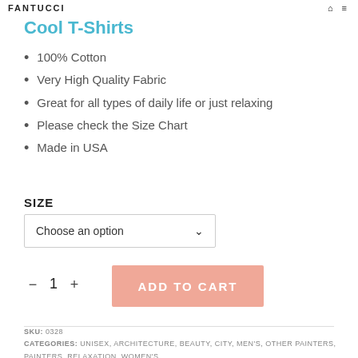FANTUCCI
Cool T-Shirts
100% Cotton
Very High Quality Fabric
Great for all types of daily life or just relaxing
Please check the Size Chart
Made in USA
SIZE
Choose an option
− 1 +
ADD TO CART
SKU: 0328
CATEGORIES: UNISEX, ARCHITECTURE, BEAUTY, CITY, MEN'S, OTHER PAINTERS, PAINTERS, RELAXATION, WOMEN'S
TAGS: 100% COTTON, DIGITAL ART, ASH, AWESOME, BEAUTY, CITY